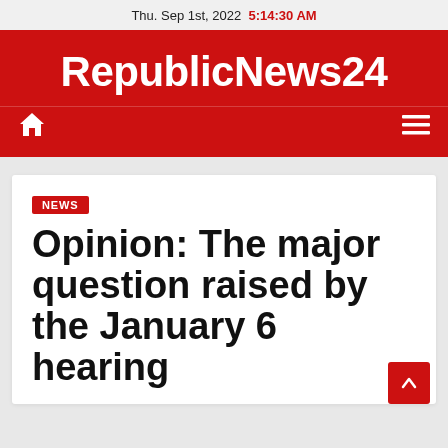Thu. Sep 1st, 2022  5:14:30 AM
RepublicNews24
NEWS
Opinion: The major question raised by the January 6 hearing